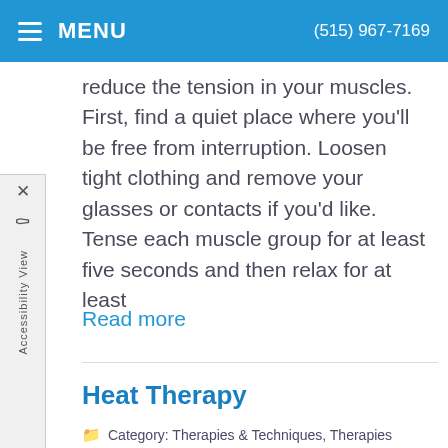MENU   (515) 967-7169
reduce the tension in your muscles. First, find a quiet place where you'll be free from interruption. Loosen tight clothing and remove your glasses or contacts if you'd like. Tense each muscle group for at least five seconds and then relax for at least
Read more
Heat Therapy
Category: Therapies & Techniques, Therapies
[Figure (photo): Woman relaxing in hot tub or spa with water in the background, smiling at camera]